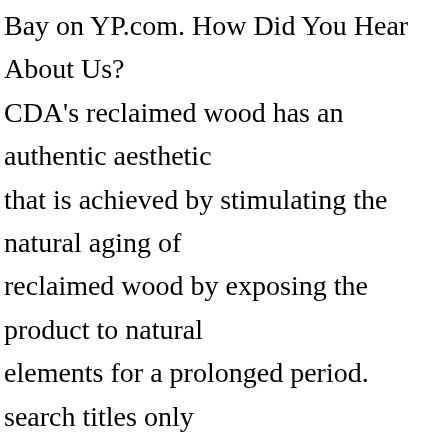Bay on YP.com. How Did You Hear About Us? CDA's reclaimed wood has an authentic aesthetic that is achieved by stimulating the natural aging of reclaimed wood by exposing the product to natural elements for a prolonged period. search titles only has image posted today bundle duplicates include nearby areas ann arbor, MI (aaa); appleton-oshkosh-FDL (app); battle creek, MI (btc); bloomington-normal (bln); cedar rapids, IA (ced); central michigan (cmu); champaign urbana (chm); chicago (chi); detroit metro (det); dubuque (dbq);